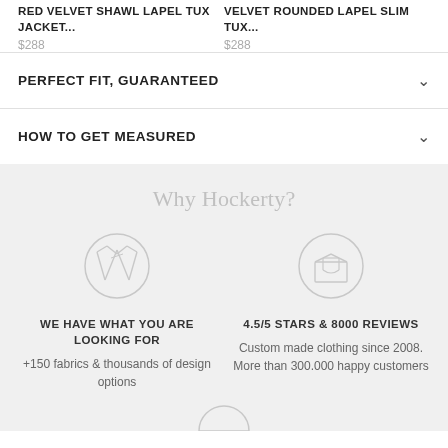RED VELVET SHAWL LAPEL TUX JACKET...
$288
VELVET ROUNDED LAPEL SLIM TUX...
$288
PERFECT FIT, GUARANTEED
HOW TO GET MEASURED
Why Hockerty?
[Figure (illustration): Circle icon with crossed suit jacket/tailoring illustration]
WE HAVE WHAT YOU ARE LOOKING FOR
+150 fabrics & thousands of design options
[Figure (illustration): Circle icon with open box/delivery illustration]
4.5/5 STARS & 8000 REVIEWS
Custom made clothing since 2008. More than 300.000 happy customers